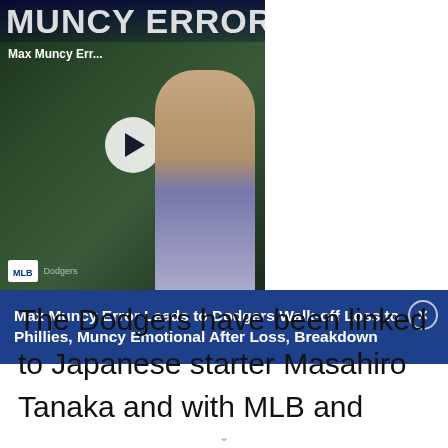[Figure (screenshot): Video thumbnail showing a baseball player in action with overlay text 'MUNCY ERROR COSTS LA' and a play button circle. A man in a baseball jersey is visible on the right side of the thumbnail. Watermark logos at bottom left.]
Max Muncy Err...
Max Muncy Error Leads to Dodgers Walk-off Loss to Phillies, Muncy Emotional After Loss, Breakdown
The Dodgers have been linked to Japanese starter Masahiro Tanaka and with MLB and Nippon Professional Baseball discussing a revamped posting system this week, it's safe to say The Guggenheim Group will submit a bid if a deal is reached. Another point of emphasis is this b...